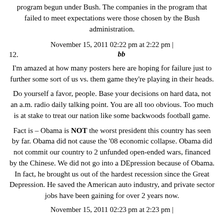program begun under Bush. The companies in the program that failed to meet expectations were those chosen by the Bush administration.
November 15, 2011 02:22 pm at 2:22 pm |
12. bb
I'm amazed at how many posters here are hoping for failure just to further some sort of us vs. them game they're playing in their heads.
Do yourself a favor, people. Base your decisions on hard data, not an a.m. radio daily talking point. You are all too obvious. Too much is at stake to treat our nation like some backwoods football game.
Fact is – Obama is NOT the worst president this country has seen by far. Obama did not cause the '08 economic collapse. Obama did not commit our country to 2 unfunded open-ended wars, financed by the Chinese. We did not go into a DEpression because of Obama. In fact, he brought us out of the hardest recession since the Great Depression. He saved the American auto industry, and private sector jobs have been gaining for over 2 years now.
November 15, 2011 02:23 pm at 2:23 pm |